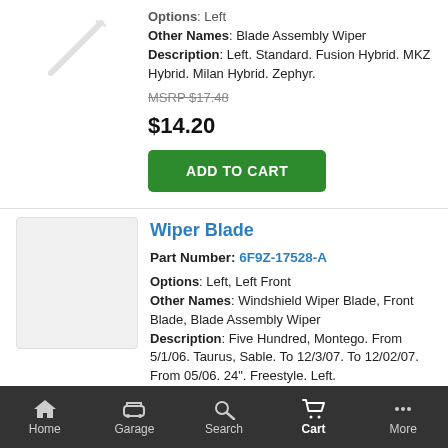Options: Left
Other Names: Blade Assembly Wiper
Description: Left. Standard. Fusion Hybrid. MKZ Hybrid. Milan Hybrid. Zephyr.
MSRP $17.48
$14.20
ADD TO CART
Wiper Blade
Part Number: 6F9Z-17528-A
Options: Left, Left Front
Other Names: Windshield Wiper Blade, Front Blade, Blade Assembly Wiper
Description: Five Hundred, Montego. From 5/1/06. Taurus, Sable. To 12/3/07. To 12/02/07. From 05/06. 24". Freestyle. Left.
MSRP $17.88
$14.53
Home  Garage  Search  Cart  More